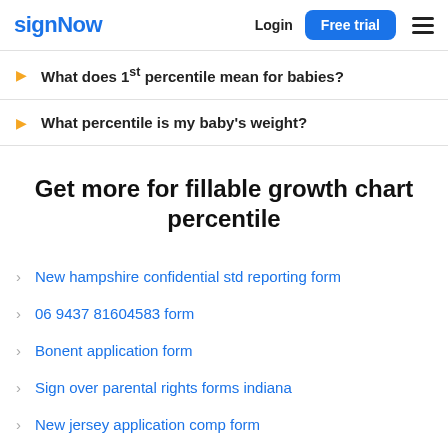signNow  Login  Free trial
What does 1st percentile mean for babies?
What percentile is my baby's weight?
Get more for fillable growth chart percentile
New hampshire confidential std reporting form
06 9437 81604583 form
Bonent application form
Sign over parental rights forms indiana
New jersey application comp form